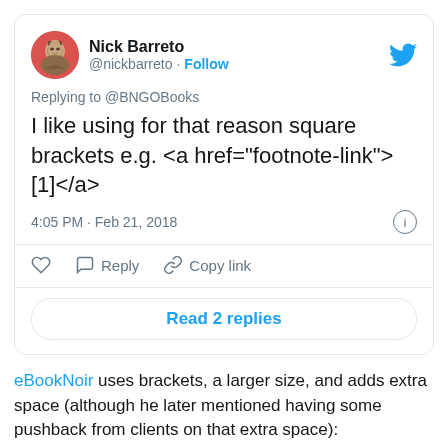[Figure (screenshot): Embedded tweet card from Nick Barreto (@nickbarreto) saying 'I like using for that reason square brackets e.g. <a href="footnote-link">[1]</a>' posted at 4:05 PM · Feb 21, 2018, replying to @BNGOBooks, with Reply/Copy link actions and Read 2 replies button]
eBookNoir uses brackets, a larger size, and adds extra space (although he later mentioned having some pushback from clients on that extra space):
https://twitter.com/jetpack/status/966343976478494721
And, from Kobo, Simon Collinson had a very interesting insight